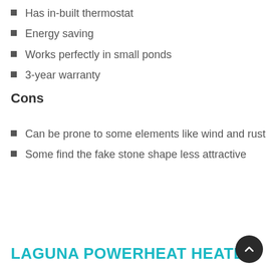Has in-built thermostat
Energy saving
Works perfectly in small ponds
3-year warranty
Cons
Can be prone to some elements like wind and rust
Some find the fake stone shape less attractive
LAGUNA POWERHEAT HEATED D